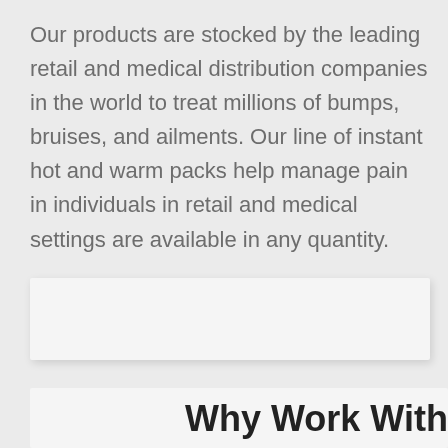Our products are stocked by the leading retail and medical distribution companies in the world to treat millions of bumps, bruises, and ailments. Our line of instant hot and warm packs help manage pain in individuals in retail and medical settings are available in any quantity.
[Figure (other): White rectangular box with shadow, partially visible, likely containing an image or content element]
[Figure (other): White rectangular box at bottom of page, partially cut off, containing partially visible section heading]
Why Work With